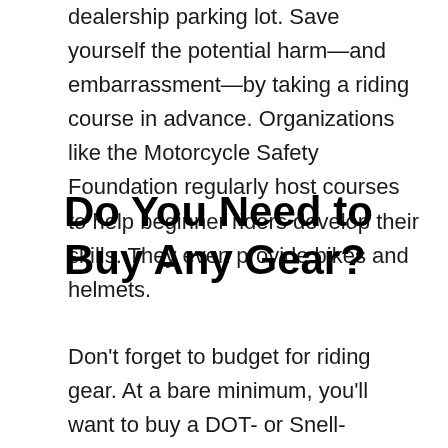dealership parking lot. Save yourself the potential harm—and embarrassment—by taking a riding course in advance. Organizations like the Motorcycle Safety Foundation regularly host courses to help beginner riders develop their skills. They even provide bikes and helmets.
Do You Need to Buy Any Gear?
Don't forget to budget for riding gear. At a bare minimum, you'll want to buy a DOT- or Snell-certified helmet. But you should also consider items like a riding jacket, gloves, and boots. Not only do these items make